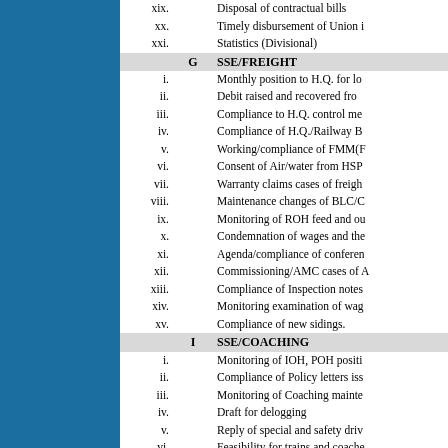|  | Letter | Description |
| --- | --- | --- |
| xix. |  | Disposal of contractual bills |
| xx. |  | Timely disbursement of Union i… |
| xxi. |  | Statistics (Divisional) |
|  | G | SSE/FREIGHT |
| i. |  | Monthly position to H.Q. for lo… |
| ii. |  | Debit raised and recovered from… |
| iii. |  | Compliance to H.Q. control me… |
| iv. |  | Compliance of H.Q./Railway Bo… |
| v. |  | Working/compliance of FMM(F… |
| vi. |  | Consent of Air/water from HSP… |
| vii. |  | Warranty claims cases of freigh… |
| viii. |  | Maintenance changes of BLC/C… |
| ix. |  | Monitoring of ROH feed and ou… |
| x. |  | Condemnation of wages and the… |
| xi. |  | Agenda/compliance of conferen… |
| xii. |  | Commissioning/AMC cases of A… |
| xiii. |  | Compliance of Inspection notes… |
| xiv. |  | Monitoring examination of wag… |
| xv. |  | Compliance of new sidings. |
|  | I | SSE/COACHING |
| i. |  | Monitoring of IOH, POH positi… |
| ii. |  | Compliance of Policy letters iss… |
| iii. |  | Monitoring of Coaching mainte… |
| iv. |  | Draft for delogging |
| v. |  | Reply of special and safety driv… |
| vi. |  | Feasibility for trains and coache… |
| vii. |  | Accident and derailment (Coach… |
| viii. |  | Liaison with all coaching depot… |